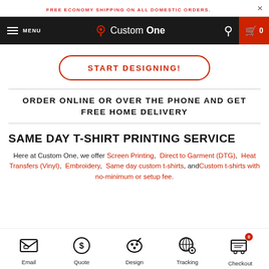FREE ECONOMY SHIPPING ON ALL DOMESTIC ORDERS.
[Figure (screenshot): Navigation bar with hamburger menu, MENU text, CustomOne logo, search icon, and red cart icon with 0]
[Figure (screenshot): START DESIGNING! button with red border and red text]
ORDER ONLINE OR OVER THE PHONE AND GET FREE HOME DELIVERY
SAME DAY T-SHIRT PRINTING SERVICE
Here at Custom One, we offer Screen Printing, Direct to Garment (DTG), Heat Transfers (Vinyl), Embroidery, Same day custom t-shirts, and Custom t-shirts with no-minimum or setup fee.
[Figure (infographic): Five icons at bottom: Email (envelope), Quote (dollar circle), Design (palette), Tracking (globe with magnifier), Checkout (cart with red 0 badge)]